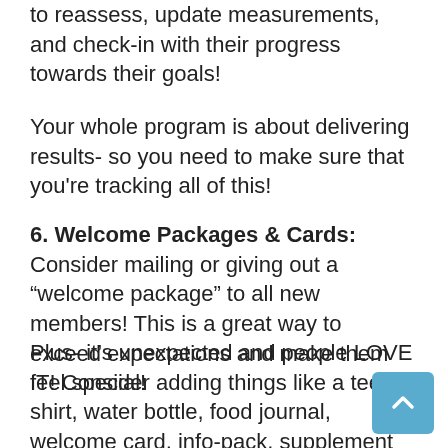to reassess, update measurements, and check-in with their progress towards their goals!
Your whole program is about delivering results- so you need to make sure that you’re tracking all of this!
6. Welcome Packages & Cards: Consider mailing or giving out a “welcome package” to all new members! This is a great way to exceed expectations and make them feel special!
Plus- it’s unexpected and people LOVE IT! Consider adding things like a tee-shirt, water bottle, food journal, welcome card, info-pack, supplement samples, etc.